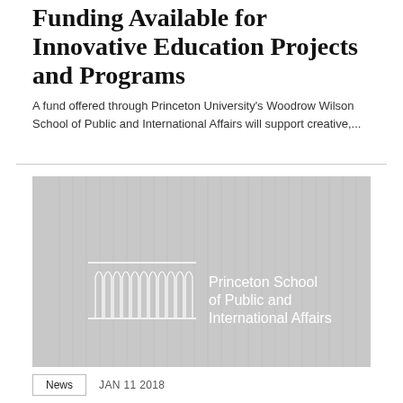Funding Available for Innovative Education Projects and Programs
A fund offered through Princeton University's Woodrow Wilson School of Public and International Affairs will support creative,...
[Figure (logo): Princeton School of Public and International Affairs logo on a light gray background with stylized white arched columns motif on the left and the school name in white text on the right.]
News   JAN 11 2018